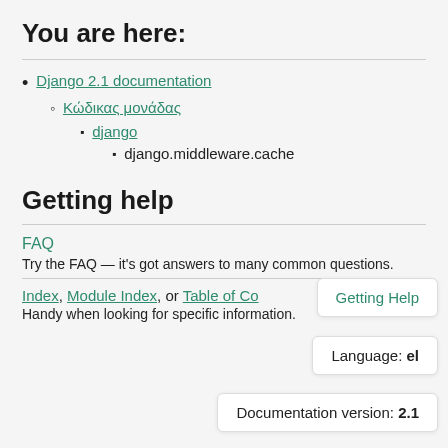You are here:
Django 2.1 documentation
Κώδικας μονάδας
django
django.middleware.cache
Getting help
FAQ
Try the FAQ — it's got answers to many common questions.
Index, Module Index, or Table of Co…
Handy when looking for specific information.
Getting Help
Language: el
Documentation version: 2.1